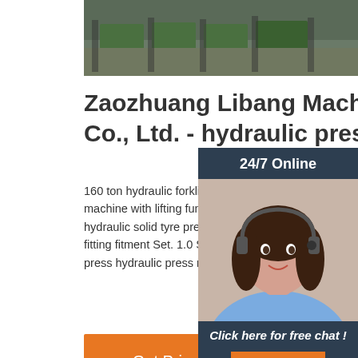[Figure (photo): Top banner photo showing industrial machinery/equipment (green forklift attachments) in a warehouse/factory setting]
Zaozhuang Libang Machinery Co., Ltd. - hydraulic press .
160 ton hydraulic forklift solid tire changing and assembling machine with lifting function. $4,00 1.0 Sets (Min. Order) hydraulic solid tyre press 200 ton for replacement removal fitting fitment Set. 1.0 Sets (Min. Order) portable industrial ti press hydraulic press machine.
[Figure (photo): Chat widget showing a female customer service agent wearing a headset, with '24/7 Online' header, 'Click here for free chat!' text, and an orange QUOTATION button]
[Figure (other): Orange 'Get Price' button]
[Figure (logo): Orange TOP logo with dot pattern above the letters]
[Figure (photo): Bottom banner photo showing industrial hydraulic press machinery with metal cylinders/columns in green setting]